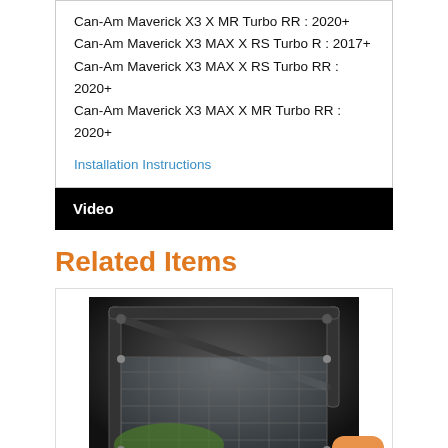Can-Am Maverick X3 X MR Turbo RR : 2020+
Can-Am Maverick X3 MAX X RS Turbo R : 2017+
Can-Am Maverick X3 MAX X RS Turbo RR : 2020+
Can-Am Maverick X3 MAX X MR Turbo RR : 2020+
Installation Instructions
Video
Related Items
[Figure (photo): Black and white photo of a UTV side net installed on a vehicle door/roll cage]
UTVMA Polaris RZR 800 & RZR XP 900 Side Nets for